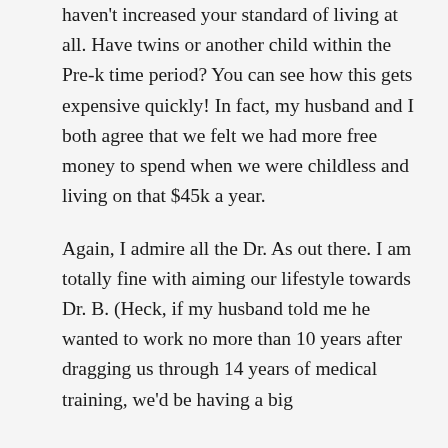haven't increased your standard of living at all. Have twins or another child within the Pre-k time period? You can see how this gets expensive quickly! In fact, my husband and I both agree that we felt we had more free money to spend when we were childless and living on that $45k a year.
Again, I admire all the Dr. As out there. I am totally fine with aiming our lifestyle towards Dr. B. (Heck, if my husband told me he wanted to work no more than 10 years after dragging us through 14 years of medical training, we'd be having a big